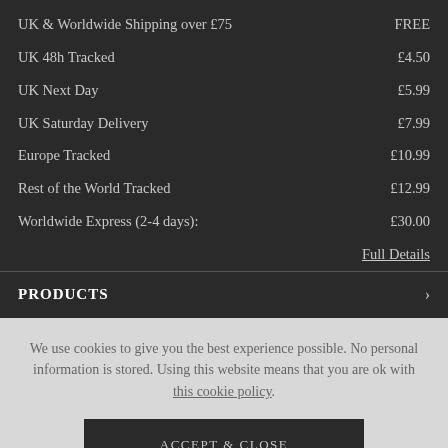| Service | Price |
| --- | --- |
| UK & Worldwide Shipping over £75 | FREE |
| UK 48h Tracked | £4.50 |
| UK Next Day | £5.99 |
| UK Saturday Delivery | £7.99 |
| Europe Tracked | £10.99 |
| Rest of the World Tracked | £12.99 |
| Worldwide Express (2-4 days): | £30.00 |
Full Details
PRODUCTS
We use cookies to give you the best experience possible. No personal information is stored. Using this website means that you are ok with this cookie policy.
ACCEPT & CLOSE
Chat with us